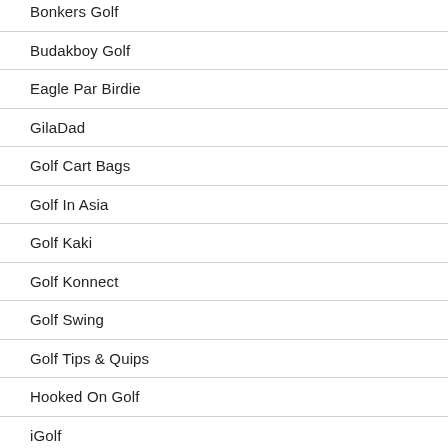Bonkers Golf
Budakboy Golf
Eagle Par Birdie
GilaDad
Golf Cart Bags
Golf In Asia
Golf Kaki
Golf Konnect
Golf Swing
Golf Tips & Quips
Hooked On Golf
iGolf